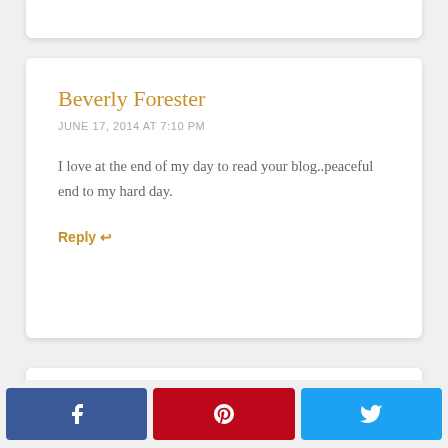Beverly Forester
JUNE 17, 2014 AT 7:10 PM
I love at the end of my day to read your blog..peaceful end to my hard day.
Reply ↩
Carolyn mcdevitt
JUNE 17, 2014 AT 7:10 PM
[Figure (other): Social share buttons: Facebook (blue), Pinterest (red), Twitter (light blue)]